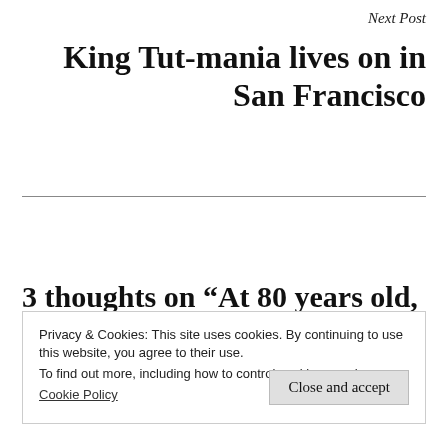Next Post
King Tut-mania lives on in San Francisco
3 thoughts on “At 80 years old, 450 Sutter looks fabulous”
Privacy & Cookies: This site uses cookies. By continuing to use this website, you agree to their use.
To find out more, including how to control cookies, see here:
Cookie Policy
Close and accept